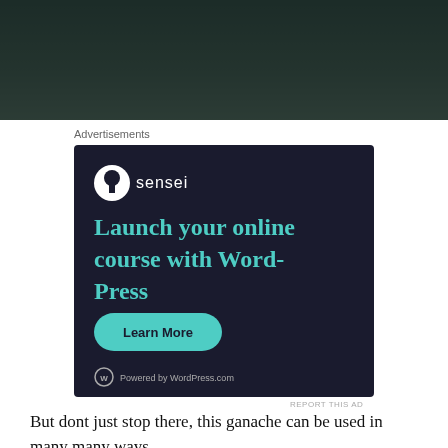[Figure (photo): Dark textured background image at the top of the page, appears to be a dark slate or stone surface.]
Advertisements
[Figure (screenshot): Sensei advertisement banner with dark navy background. Shows Sensei logo (bonsai tree icon in white circle) with text 'sensei'. Large teal heading reads 'Launch your online course with WordPress'. A teal rounded button labeled 'Learn More'. Footer shows WordPress logo with 'Powered by WordPress.com'.]
REPORT THIS AD
But dont just stop there, this ganache can be used in many many ways.